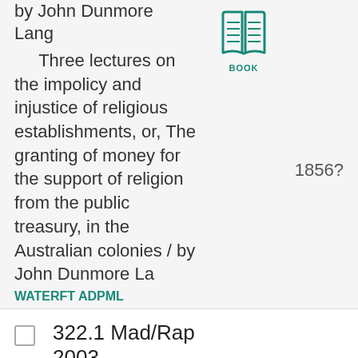by John Dunmore Lang
Three lectures on the impolicy and injustice of religious establishments, or, The granting of money for the support of religion from the public treasury, in the Australian colonies / by John Dunmore La
[Figure (illustration): Book icon in teal color with label BOOK below]
WATERFT ADPML
1856?
322.1 Mad/Rap 2003
: Religion and politics / edited by John T.S.